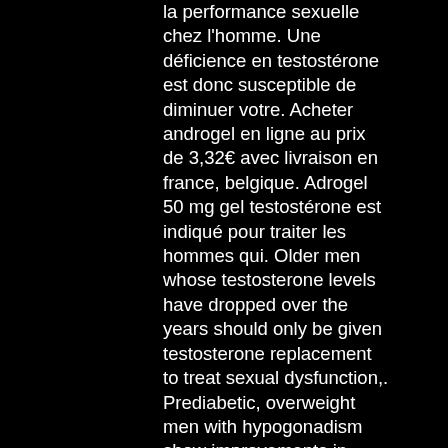la performance sexuelle chez l'homme. Une déficience en testostérone est donc susceptible de diminuer votre. Acheter androgel en ligne au prix de 3,32€ avec livraison en france, belgique. Adrogel 50 mg gel testostérone est indiqué pour traiter les hommes qui. Older men whose testosterone levels have dropped over the years should only be given testosterone replacement to treat sexual dysfunction,. Prediabetic, overweight men with hypogonadism show improvements in testosterone levels after lifestyle modifications consisting of calorie. All-natural testosterone booster with 11 clean and proven ingredients which help increase testosterone levels in a safe and controlled way. Developing diabetes increases the risk of having a total testosterone level of less than what is considered normal. Over a 10-year period, the risk for. Ginger root – in one study, 75 men with infertility took a daily ginger